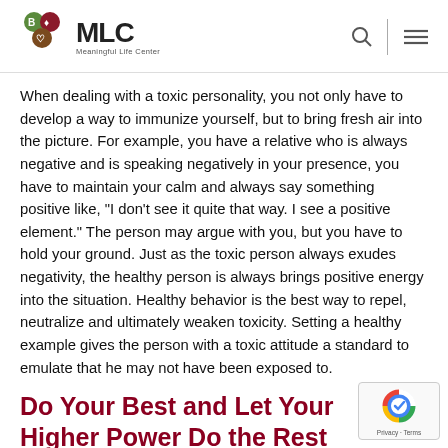[Figure (logo): MLC Meaningful Life Center logo with colorful circular icon and text]
When dealing with a toxic personality, you not only have to develop a way to immunize yourself, but to bring fresh air into the picture. For example, you have a relative who is always negative and is speaking negatively in your presence, you have to maintain your calm and always say something positive like, “I don’t see it quite that way. I see a positive element.” The person may argue with you, but you have to hold your ground. Just as the toxic person always exudes negativity, the healthy person is always brings positive energy into the situation. Healthy behavior is the best way to repel, neutralize and ultimately weaken toxicity. Setting a healthy example gives the person with a toxic attitude a standard to emulate that he may not have been exposed to.
Do Your Best and Let Your Higher Power Do the Rest